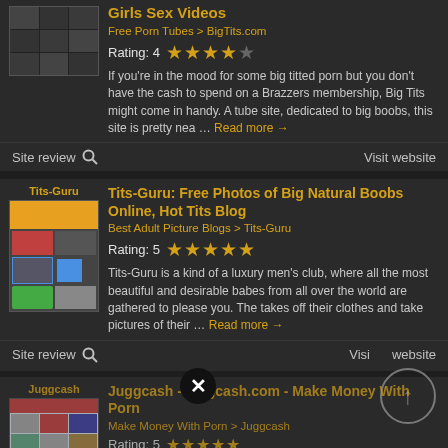[Figure (screenshot): Thumbnail screenshot of BigTits.com website showing grid of video thumbnails]
Girls Sex Videos
Free Porn Tubes > BigTits.com
Rating: 4 ★★★★☆
If you're in the mood for some big titted porn but you don't have the cash to spend on a Brazzers membership, Big Tits might come in handy. A tube site, dedicated to big boobs, this site is pretty nea … Read more →
Site review   Visit website
Tits-Guru
[Figure (screenshot): Thumbnail screenshot of Tits-Guru website showing photo blog layout]
Tits-Guru: Free Photos of Big Natural Boobs Online, Hot Tits Blog
Best Adult Picture Blogs > Tits-Guru
Rating: 5 ★★★★★
Tits-Guru is a kind of a luxury men's club, where all the most beautiful and desirable babes from all over the world are gathered to please you. The takes off their clothes and take pictures of their … Read more →
Site review   Visit website
Juggcash
[Figure (screenshot): Thumbnail screenshot of Juggcash website]
Juggcash - juggcash.com - Make Money With Porn
Make Money With Porn > Juggcash
Rating: 5 ★★★★★